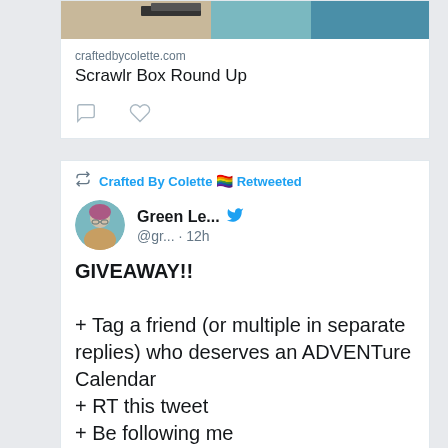[Figure (screenshot): Top portion of an image showing craft/art supplies]
craftedbycolette.com
Scrawlr Box Round Up
Crafted By Colette 🏳️‍🌈 Retweeted
Green Le... @gr... · 12h
GIVEAWAY!!

+ Tag a friend (or multiple in separate replies) who deserves an ADVENTure Calendar
+ RT this tweet
+ Be following me

Winner gets a Standard box & so does their pal!